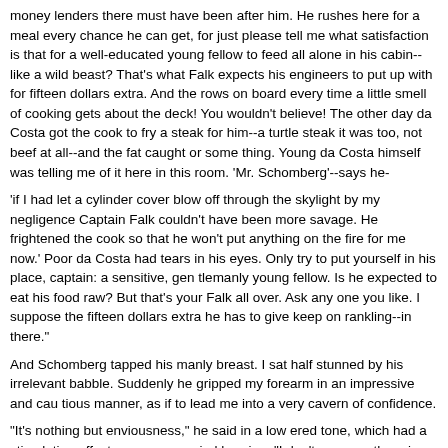money lenders there must have been after him. He rushes here for a meal every chance he can get, for just please tell me what satisfaction is that for a well-educated young fellow to feed all alone in his cabin--like a wild beast? That's what Falk expects his engineers to put up with for fifteen dollars extra. And the rows on board every time a little smell of cooking gets about the deck! You wouldn't believe! The other day da Costa got the cook to fry a steak for him--a turtle steak it was too, not beef at all--and the fat caught or some thing. Young da Costa himself was telling me of it here in this room. 'Mr. Schomberg'--says he-
'if I had let a cylinder cover blow off through the skylight by my negligence Captain Falk couldn't have been more savage. He frightened the cook so that he won't put anything on the fire for me now.' Poor da Costa had tears in his eyes. Only try to put yourself in his place, captain: a sensitive, gen tlemanly young fellow. Is he expected to eat his food raw? But that's your Falk all over. Ask any one you like. I suppose the fifteen dollars extra he has to give keep on rankling--in there."
And Schomberg tapped his manly breast. I sat half stunned by his irrelevant babble. Suddenly he gripped my forearm in an impressive and cau tious manner, as if to lead me into a very cavern of confidence.
"It's nothing but enviousness," he said in a low ered tone, which had a stimulating effect upon my wearied hearing. "I don't suppose there is one person in this town that he isn't envious of. I tell you he's dangerous. Even I myself am not safe from him. I know for certain he tried to poi son . . . ."
"Oh, come now," I cried, revolted.
"But I know for certain. The people themselves came and told me of it. He went about saying everywhere I was a worse pest to this town than the